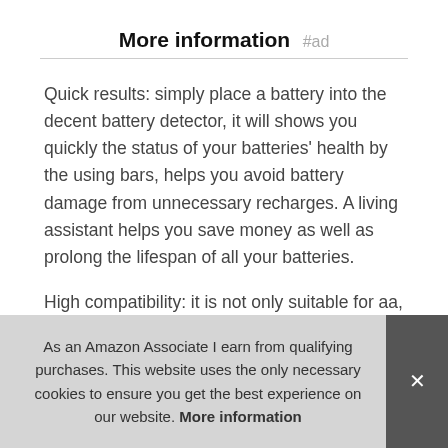More information #ad
Quick results: simply place a battery into the decent battery detector, it will shows you quickly the status of your batteries' health by the using bars, helps you avoid battery damage from unnecessary recharges. A living assistant helps you save money as well as prolong the lifespan of all your batteries.
High compatibility: it is not only suitable for aa, 2cr5, cr-p2 cylindrical battery testing, C, 9v, aaa, CR123A, n, cr2, CRV3, D, but also good for checking a wide variety of button cell batteries. Remarkably compact: one of the smallest and lightest ... rech...
As an Amazon Associate I earn from qualifying purchases. This website uses the only necessary cookies to ensure you get the best experience on our website. More information